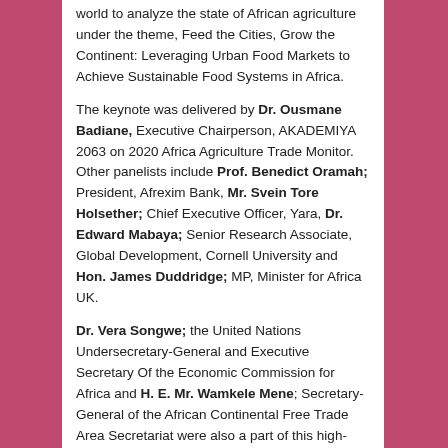world to analyze the state of African agriculture under the theme, Feed the Cities, Grow the Continent: Leveraging Urban Food Markets to Achieve Sustainable Food Systems in Africa.
The keynote was delivered by Dr. Ousmane Badiane, Executive Chairperson, AKADEMIYA 2063 on 2020 Africa Agriculture Trade Monitor. Other panelists include Prof. Benedict Oramah; President, Afrexim Bank, Mr. Svein Tore Holsether; Chief Executive Officer, Yara, Dr. Edward Mabaya; Senior Research Associate, Global Development, Cornell University and Hon. James Duddridge; MP, Minister for Africa UK.
Dr. Vera Songwe; the United Nations Undersecretary-General and Executive Secretary Of the Economic Commission for Africa and H. E. Mr. Wamkele Mene; Secretary-General of the African Continental Free Trade Area Secretariat were also a part of this high-level panel.
You can watch Claudine hosting and moderating the full